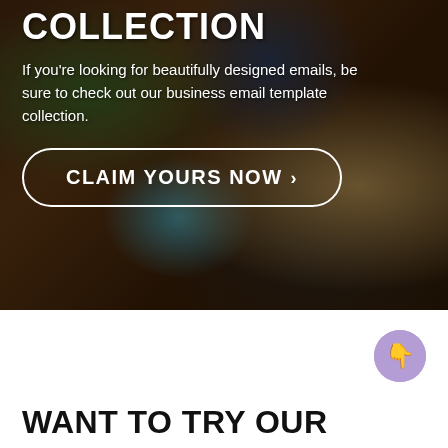[Figure (photo): Background photo of a designer working at a computer with design swatches and a drawing tablet on a wooden desk, overlaid with dark semi-transparent overlay]
COLLECTION
If you're looking for beautifully designed emails, be sure to check out our business email template collection.
CLAIM YOURS NOW >
[Figure (illustration): Purple circle with a white hand/pointing finger emoji icon]
WANT TO TRY OUR